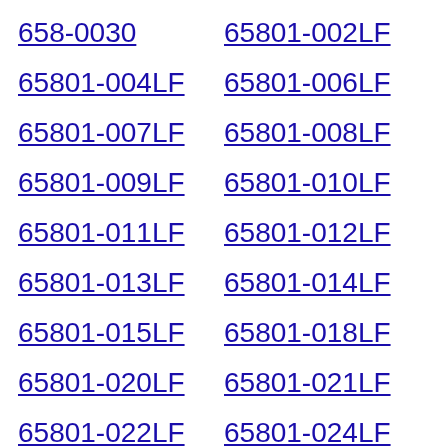658-0030
65801-002LF
65801-004LF
65801-006LF
65801-007LF
65801-008LF
65801-009LF
65801-010LF
65801-011LF
65801-012LF
65801-013LF
65801-014LF
65801-015LF
65801-018LF
65801-020LF
65801-021LF
65801-022LF
65801-024LF
65801-030LF
65801-033LF
65801-037LF
65801-038LF